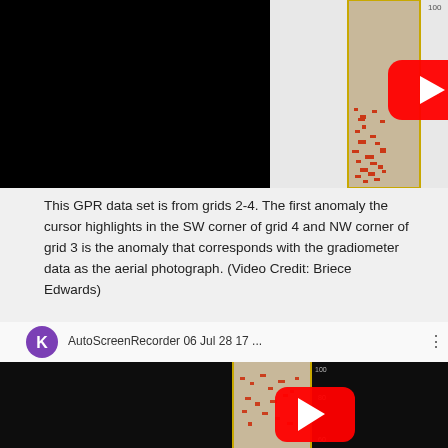[Figure (screenshot): YouTube video thumbnail showing GPR data visualization - a narrow vertical strip of GPR scan data (grey background with red anomaly markers) centered on a black background, with a red YouTube play button overlaid in the center.]
This GPR data set is from grids 2-4.  The first anomaly the cursor highlights in the SW corner of grid 4 and NW corner of grid 3 is the anomaly that corresponds with the gradiometer data as the aerial photograph.  (Video Credit: Briece Edwards)
[Figure (screenshot): YouTube video thumbnail with header bar showing purple 'K' avatar circle, title 'AutoScreenRecorder 06 Jul 28 17 ...', three-dot menu icon, and below a black video area with visible GPR scan strip and red YouTube play button overlaid.]